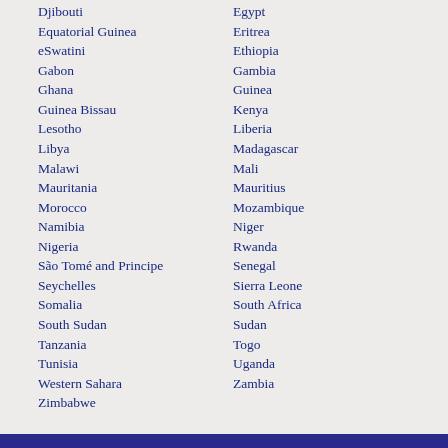Djibouti
Egypt
Equatorial Guinea
Eritrea
eSwatini
Ethiopia
Gabon
Gambia
Ghana
Guinea
Guinea Bissau
Kenya
Lesotho
Liberia
Libya
Madagascar
Malawi
Mali
Mauritania
Mauritius
Morocco
Mozambique
Namibia
Niger
Nigeria
Rwanda
São Tomé and Principe
Senegal
Seychelles
Sierra Leone
Somalia
South Africa
South Sudan
Sudan
Tanzania
Togo
Tunisia
Uganda
Western Sahara
Zambia
Zimbabwe